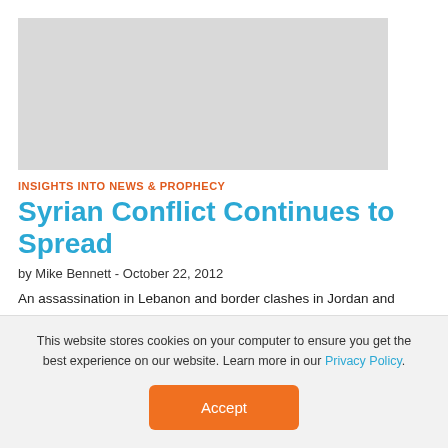[Figure (photo): Gray placeholder image rectangle]
INSIGHTS INTO NEWS & PROPHECY
Syrian Conflict Continues to Spread
by Mike Bennett - October 22, 2012
An assassination in Lebanon and border clashes in Jordan and Turkey demonstrate the continuing spread of the Syrian conflict. When will peace finally come? The assassination of an... Read More
This website stores cookies on your computer to ensure you get the best experience on our website. Learn more in our Privacy Policy.
Accept